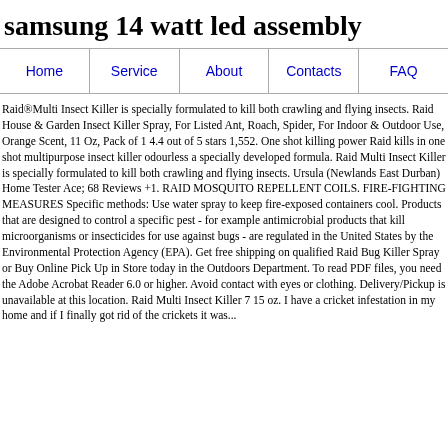samsung 14 watt led assembly
Home | Service | About | Contacts | FAQ
Raid®Multi Insect Killer is specially formulated to kill both crawling and flying insects. Raid House & Garden Insect Killer Spray, For Listed Ant, Roach, Spider, For Indoor & Outdoor Use, Orange Scent, 11 Oz, Pack of 1 4.4 out of 5 stars 1,552. One shot killing power Raid kills in one shot multipurpose insect killer odourless a specially developed formula. Raid Multi Insect Killer is specially formulated to kill both crawling and flying insects. Ursula (Newlands East Durban) Home Tester Ace; 68 Reviews +1. RAID MOSQUITO REPELLENT COILS. FIRE-FIGHTING MEASURES Specific methods: Use water spray to keep fire-exposed containers cool. Products that are designed to control a specific pest - for example antimicrobial products that kill microorganisms or insecticides for use against bugs - are regulated in the United States by the Environmental Protection Agency (EPA). Get free shipping on qualified Raid Bug Killer Spray or Buy Online Pick Up in Store today in the Outdoors Department. To read PDF files, you need the Adobe Acrobat Reader 6.0 or higher. Avoid contact with eyes or clothing. Delivery/Pickup is unavailable at this location. Raid Multi Insect Killer 7 15 oz. I have a cricket infestation in my home and if I finally got rid of the crickets it was...